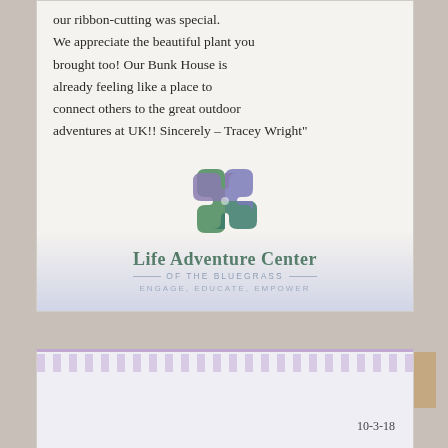[Figure (photo): Handwritten note on white card reading: 'our ribbon-cutting was special. We appreciate the beautiful plant you brought too! Our Bunk House is already feeling like a place to connect others to the great outdoor adventures at UK!! Sincerely - Tracey Wright"']
[Figure (logo): Life Adventure Center of the Bluegrass logo: puzzle pieces forming a circle in green and purple/blue, with text 'Life Adventure Center OF THE BLUEGRASS' and tagline 'ENGAGE, EDUCATE, EMPOWER']
[Figure (photo): Bottom of a card with purple decorative border/trim, and handwritten date '10-3-18']